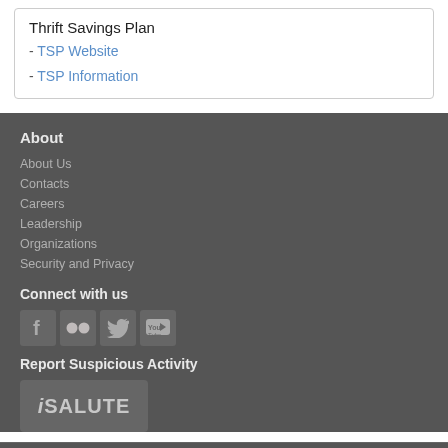Thrift Savings Plan
- TSP Website
- TSP Information
About
About Us
Contacts
Careers
Leadership
Organizations
Security and Privacy
Connect with us
[Figure (other): Social media icons: Facebook, Flickr, Twitter, YouTube]
Report Suspicious Activity
[Figure (logo): iSALUTE logo button]
© 2016 Nebraska National Guard, All Rights Reserved